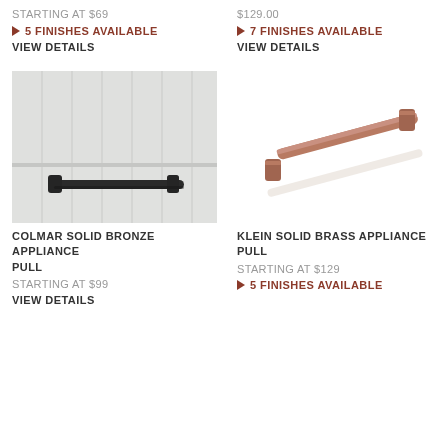STARTING AT $69
▶ 5 FINISHES AVAILABLE
VIEW DETAILS
$129.00
▶ 7 FINISHES AVAILABLE
VIEW DETAILS
[Figure (photo): Colmar Solid Bronze Appliance Pull mounted on white cabinet door]
[Figure (photo): Klein Solid Brass Appliance Pull shown on white background]
COLMAR SOLID BRONZE APPLIANCE PULL
KLEIN SOLID BRASS APPLIANCE PULL
STARTING AT $99
STARTING AT $129
VIEW DETAILS
▶ 5 FINISHES AVAILABLE